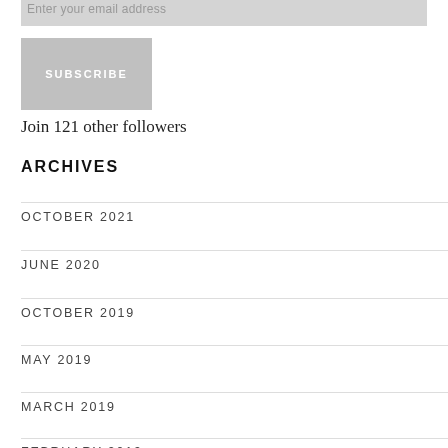Enter your email address
SUBSCRIBE
Join 121 other followers
ARCHIVES
OCTOBER 2021
JUNE 2020
OCTOBER 2019
MAY 2019
MARCH 2019
FEBRUARY 2019
JANUARY 2019